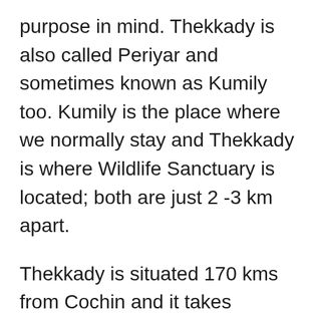purpose in mind. Thekkady is also called Periyar and sometimes known as Kumily too. Kumily is the place where we normally stay and Thekkady is where Wildlife Sanctuary is located; both are just 2 -3 km apart.
Thekkady is situated 170 kms from Cochin and it takes approximately 5 hours to reach there. For most of the package trips, we go to Thekkady after Munnar which is 110km away or from Alleppey which is about 140km away. The route is a combination of hills as well as normal roads.